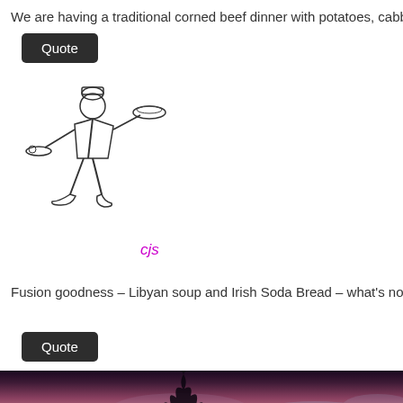We are having a traditional corned beef dinner with potatoes, cabbage…
Quote
[Figure (illustration): Line drawing of a chef/waiter walking and carrying a serving dish, with text 'cjs' in magenta beside it]
Fusion goodness – Libyan soup and Irish Soda Bread – what's not to love!! Taking a…
Quote
[Figure (photo): Photo of a dramatic sunset sky with pink, purple and blue clouds and dark tree silhouette in foreground]